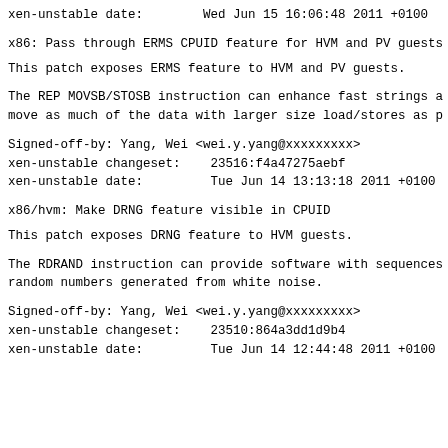xen-unstable date:        Wed Jun 15 16:06:48 2011 +0100
x86: Pass through ERMS CPUID feature for HVM and PV guests
This patch exposes ERMS feature to HVM and PV guests.
The REP MOVSB/STOSB instruction can enhance fast strings a
move as much of the data with larger size load/stores as p
Signed-off-by: Yang, Wei <wei.y.yang@xxxxxxxxx>
xen-unstable changeset:    23516:f4a47275aebf
xen-unstable date:         Tue Jun 14 13:13:18 2011 +0100
x86/hvm: Make DRNG feature visible in CPUID
This patch exposes DRNG feature to HVM guests.
The RDRAND instruction can provide software with sequences
random numbers generated from white noise.
Signed-off-by: Yang, Wei <wei.y.yang@xxxxxxxxx>
xen-unstable changeset:    23510:864a3dd1d9b4
xen-unstable date:         Tue Jun 14 12:44:48 2011 +0100
...